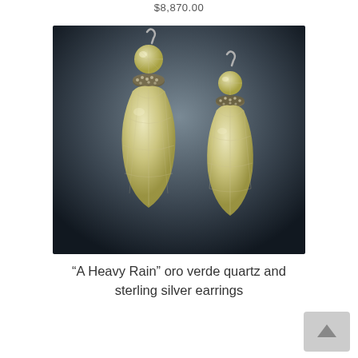$8,870.00
[Figure (photo): Two oro verde quartz and sterling silver drop earrings photographed against a dark gradient background. Each earring features a faceted briolette-cut pale yellow-green quartz teardrop, a pavé diamond or crystal rondelle spacer, a round faceted quartz bead, and a sterling silver hook.]
“A Heavy Rain” oro verde quartz and sterling silver earrings